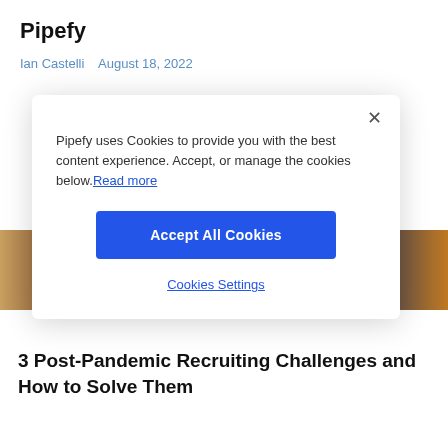Pipefy
Ian Castelli   August 18, 2022
Pipefy uses Cookies to provide you with the best content experience. Accept, or manage the cookies below. Read more
Accept All Cookies
Cookies Settings
[Figure (photo): Partial photo of people, blurred background behind cookie modal]
3 Post-Pandemic Recruiting Challenges and How to Solve Them